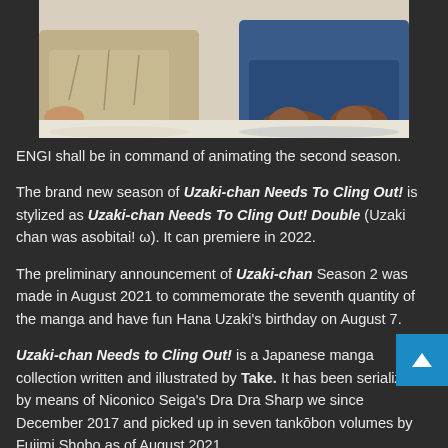[Figure (illustration): Partial view of anime illustration showing characters lying down, cropped at top of page. Dark background surrounds the image.]
ENGI shall be in command of animating the second season.
The brand new season of Uzaki-chan Needs To Cling Out! is stylized as Uzaki-chan Needs To Cling Out! Double (Uzaki chan was asobitai! ω). It can premiere in 2022.
The preliminary announcement of Uzaki-chan Season 2 was made in August 2021 to commemorate the seventh quantity of the manga and have fun Hana Uzaki's birthday on August 7.
Uzaki-chan Needs to Cling Out! is a Japanese manga collection written and illustrated by Take. It has been serialized by means of Niconico Seiga's Dra Dra Sharp we since December 2017 and picked up in seven tankōbon volumes by Fujimi Shobo as of August 2021.